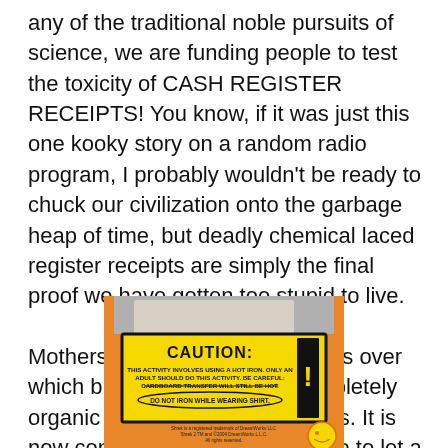any of the traditional noble pursuits of science, we are funding people to test the toxicity of CASH REGISTER RECEIPTS! You know, if it was just this one kooky story on a random radio program, I probably wouldn't be ready to chuck our civilization onto the garbage heap of time, but deadly chemical laced register receipts are simply the final proof we have gotten too stupid to live.

Mothers enter a state of paralysis over which brand of “all natural, completely organic food” to feed their babies. It is now considered near child abuse to let a kid h
[Figure (photo): Photo of a yellow caution label on what appears to be a children's product box. The label reads: CAUTION: THIS ACTIVITY INVOLVES USING A HOT IRON. ONLY AN ADULT SHOULD DO THIS ACTIVITY. BE CAREFUL: CARDBOARD TRANSFER WILL STILL BE HOT. DO NOT IRON WHILE WEARING SHIRT. Below is small text: Shrek is a registered trademark of DreamWorks LLC. Shrek 2 TM and (c) 2004 DreamWorks L.L.C. All rights reserved.]